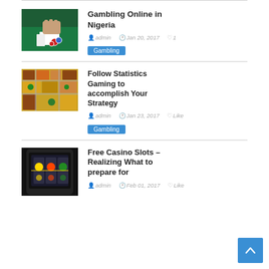[Figure (photo): Casino table with cards and chips on green felt surface]
Gambling Online in Nigeria
admin   Jan 20, 2017   1
Gambling
[Figure (photo): Colorful board game map/strategy game aerial view]
Follow Statistics Gaming to accomplish Your Strategy
admin   Jan 23, 2017   Like
Gambling
[Figure (photo): Mobile phone showing casino slot machine game]
Free Casino Slots – Realizing What to prepare for
admin   Feb 01, 2017   Like